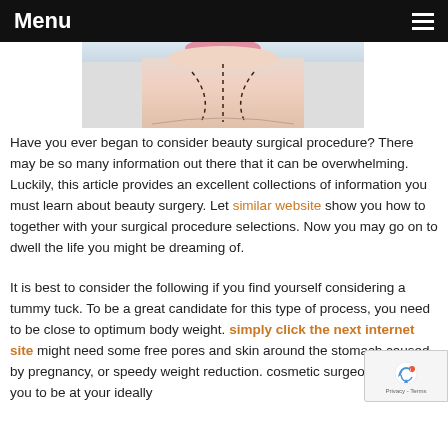Menu
[Figure (photo): Close-up photo of a person's chin and neck area with dashed surgical marking lines drawn on the skin]
Have you ever began to consider beauty surgical procedure? There may be so many information out there that it can be overwhelming. Luckily, this article provides an excellent collections of information you must learn about beauty surgery. Let similar website show you how to together with your surgical procedure selections. Now you may go on to dwell the life you might be dreaming of.
It is best to consider the following if you find yourself considering a tummy tuck. To be a great candidate for this type of process, you need to be close to optimum body weight. simply click the next internet site might need some free pores and skin around the stomach caused by pregnancy, or speedy weight reduction. cosmetic surgeon will want you to be at your ideally